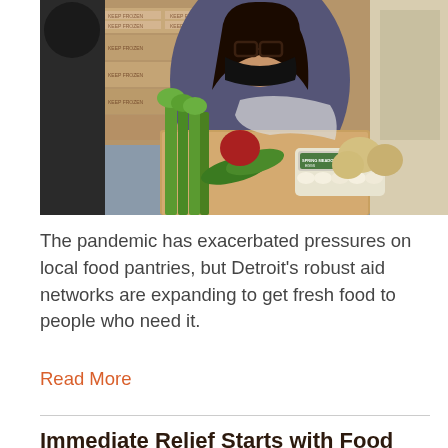[Figure (photo): A woman wearing a black mask holds a cardboard box filled with fresh vegetables including celery, zucchini, and eggs (Spring Meadow brand carton). Behind her are stacked brown cardboard boxes labeled 'KEEP FROZEN'.]
The pandemic has exacerbated pressures on local food pantries, but Detroit's robust aid networks are expanding to get fresh food to people who need it.
Read More
Immediate Relief Starts with Food